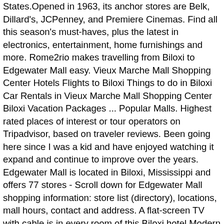States.Opened in 1963, its anchor stores are Belk, Dillard's, JCPenney, and Premiere Cinemas. Find all this season's must-haves, plus the latest in electronics, entertainment, home furnishings and more. Rome2rio makes travelling from Biloxi to Edgewater Mall easy. Vieux Marche Mall Shopping Center Hotels Flights to Biloxi Things to do in Biloxi Car Rentals in Vieux Marche Mall Shopping Center Biloxi Vacation Packages ... Popular Malls. Highest rated places of interest or tour operators on Tripadvisor, based on traveler reviews. Been going here since I was a kid and have enjoyed watching it expand and continue to improve over the years. Edgewater Mall is located in Biloxi, Mississippi and offers 77 stores - Scroll down for Edgewater Mall shopping information: store list (directory), locations, mall hours, contact and address. A flat-screen TV with cable is in every room of this Biloxi hotel.Modern decor is featured in all rooms and guests will appreciate in-room tea- and coffee-making facilities. Biloxi's shopping opportunities cover all the bases. Tanger Outlet Mall in Biloxi on YP.com. (228) 388-4636, Ray-Ban sunglasses specials! Here is a list of antique malls and stores in the Biloxi